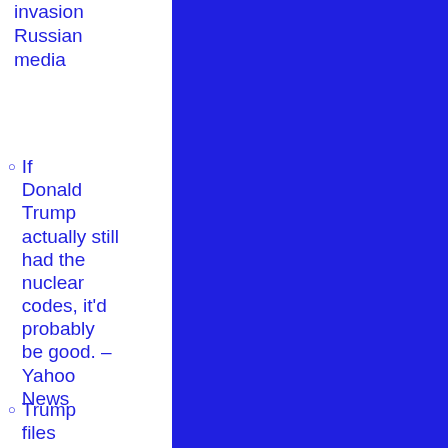invasion Russian media
If Donald Trump actually still had the nuclear codes, it’d probably be good. – Yahoo News
Trump files